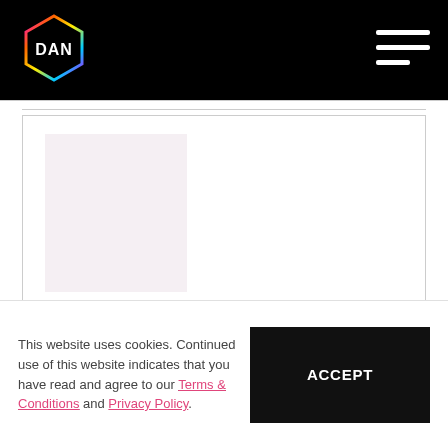[Figure (logo): DAN logo — hexagonal border with rainbow gradient, white DAN text on black background, top-left of navigation bar]
[Figure (illustration): Hamburger menu icon — three horizontal white lines, right side of navigation bar]
[Figure (illustration): inPixelHaus logo placeholder — solid light pink/mauve square]
inPixelHaus
We offer a wide range of services, such as web design, branding & print work, at an affordable rate to get your business going in the world of technology.
This website uses cookies. Continued use of this website indicates that you have read and agree to our Terms & Conditions and Privacy Policy.